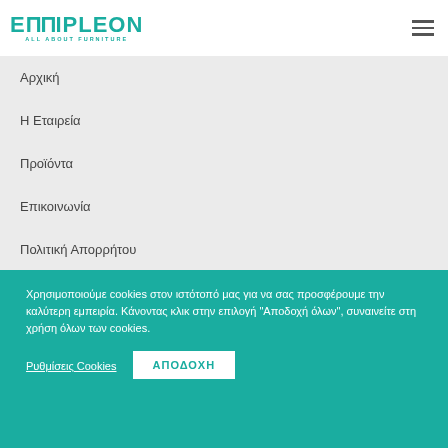[Figure (logo): EPLEON furniture brand logo in teal with tagline ALL ABOUT FURNITURE]
Αρχική
Η Εταιρεία
Προϊόντα
Επικοινωνία
Πολιτική Απορρήτου
Χρησιμοποιούμε cookies στον ιστότοπό μας για να σας προσφέρουμε την καλύτερη εμπειρία. Κάνοντας κλικ στην επιλογή "Αποδοχή όλων", συναινείτε στη χρήση όλων των cookies.
Ρυθμίσεις Cookies
ΑΠΟΔΟΧΗ